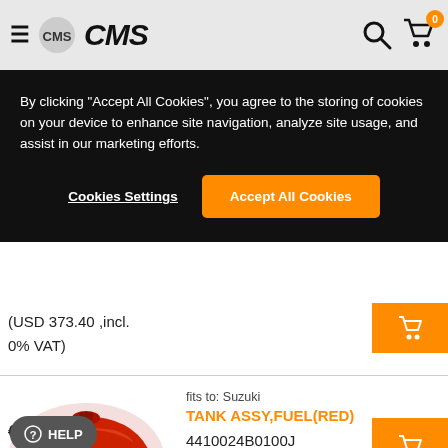CMS - motorcycle parts shop header with logo, search and cart icons
By clicking "Accept All Cookies", you agree to the storing of cookies on your device to enhance site navigation, analyze site usage, and assist in our marketing efforts.
Cookies Settings
Accept All Cookies
(USD 373.40 ,incl.
0% VAT)
fits to: Suzuki
TANK ASSY,FUEL(RED)
4410024B0100J
[Figure (photo): Red motorcycle fuel tank product image]
€ 370.00
(USD 373.40 ,incl.